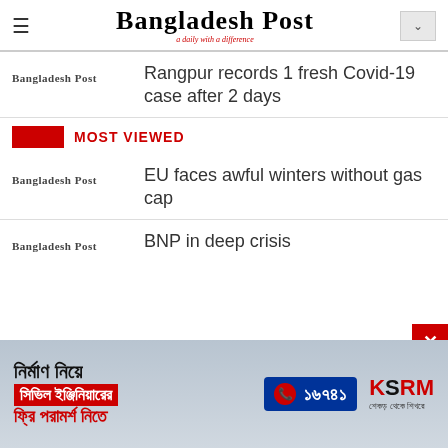Bangladesh Post
Rangpur records 1 fresh Covid-19 case after 2 days
MOST VIEWED
EU faces awful winters without gas cap
BNP in deep crisis
[Figure (other): Advertisement banner for KSRM civil engineering consultation with Bengali text, phone number 16741]